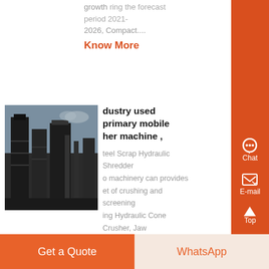growth during the forecast period 2021-2026, Compact....
Know More
[Figure (photo): Industrial machinery/equipment, appears to be a crusher or screening plant, dark tones]
dustry used primary mobile her machine ,
teel Scrap Hydraulic Shredder o machinery can provides et of crushing and screening ing Hydraulic Cone Crusher, Jaw Crusher, Impac, Read More Posted on October 18, 2021 News , jaw Australia Mining Trommel Gold Wash for Sale...
Know More